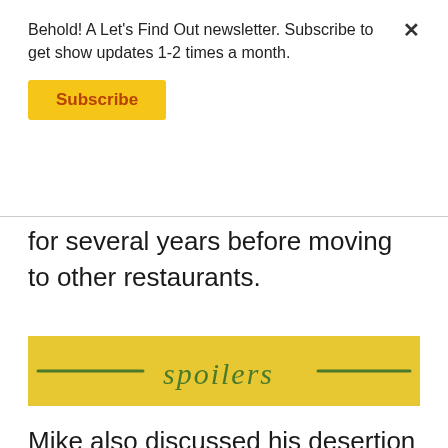Behold! A Let's Find Out newsletter. Subscribe to get show updates 1-2 times a month.
Subscribe
for several years before moving to other restaurants.
[Figure (illustration): Yellow banner with handwritten green text '— spoilers —' with green lines on each side]
Mike also discussed his desertion from the US Army after going through advanced infantry